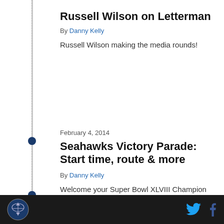Russell Wilson on Letterman
By Danny Kelly
Russell Wilson making the media rounds!
February 4, 2014
Seahawks Victory Parade: Start time, route & more
By Danny Kelly
Welcome your Super Bowl XLVIII Champion Seahawks home to Seattle Wednesday at the official victory parade, to be held downtown.
February 4, 2014
Celebrating at Fanfare